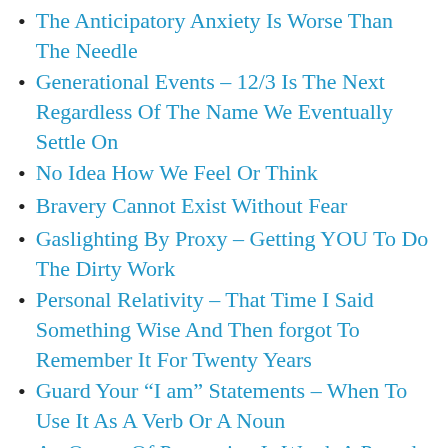The Anticipatory Anxiety Is Worse Than The Needle
Generational Events – 12/3 Is The Next Regardless Of The Name We Eventually Settle On
No Idea How We Feel Or Think
Bravery Cannot Exist Without Fear
Gaslighting By Proxy – Getting YOU To Do The Dirty Work
Personal Relativity – That Time I Said Something Wise And Then forgot To Remember It For Twenty Years
Guard Your “I am” Statements – When To Use It As A Verb Or A Noun
An Ounce Of Prevention Is Worth A Pound Of Cure – But The Money Is In The Treatment
What You See Is All There Is Example – The